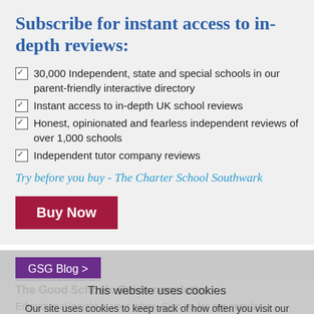Subscribe for instant access to in-depth reviews:
30,000 Independent, state and special schools in our parent-friendly interactive directory
Instant access to in-depth UK school reviews
Honest, opinionated and fearless independent reviews of over 1,000 schools
Independent tutor company reviews
Try before you buy - The Charter School Southwark
Buy Now
GSG Blog >
This website uses cookies
Our site uses cookies to keep track of how often you visit our site, previous purchases and to deliver content specific to your interests. Most
The Good Schools Guide newsletter
Educational insight in your inbox. Sign up for our popular newsletters.